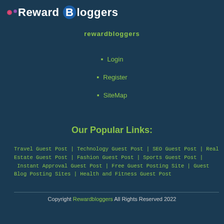[Figure (logo): Reward Bloggers logo with pink and purple dots and blue circle around B]
Rewardbloggers
Login
Register
SiteMap
Our Popular Links:
Travel Guest Post  |  Technology Guest Post  |  SEO Guest Post  |  Real Estate Guest Post  |  Fashion Guest Post  |  Sports Guest Post  |  Instant Approval Guest Post  |  Free Guest Posting Site | Guest Blog Posting Sites | Health and Fitness Guest Post
Copyright Rewardbloggers All Rights Reserved 2022